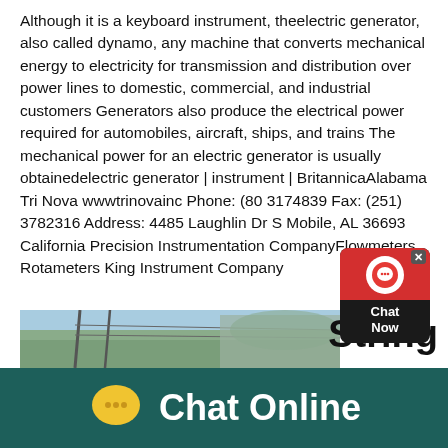Although it is a keyboard instrument, theelectric generator, also called dynamo, any machine that converts mechanical energy to electricity for transmission and distribution over power lines to domestic, commercial, and industrial customers Generators also produce the electrical power required for automobiles, aircraft, ships, and trains The mechanical power for an electric generator is usually obtainedelectric generator | instrument | BritannicaAlabama Tri Nova wwwtrinovainc Phone: (80 3174839 Fax: (251) 3782316 Address: 4485 Laughlin Dr S Mobile, AL 36693 California Precision Instrumentation CompanyFlowmeters Rotameters King Instrument Company
[Figure (screenshot): Chat widget overlay with red header showing chat icon and 'Chat Now' text on dark background]
[Figure (photo): Partial photo showing sky, power lines or poles, and mountainous landscape]
String
[Figure (infographic): Chat Online banner with yellow speech bubble icon and white 'Chat Online' text on dark teal background]